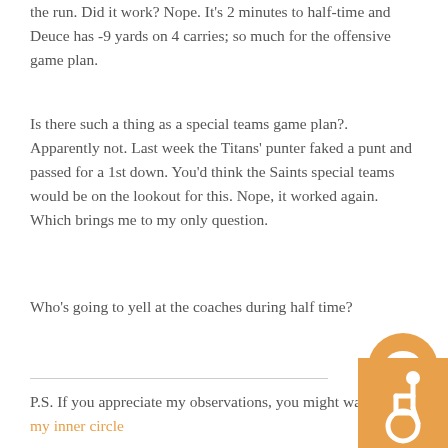the run. Did it work? Nope. It's 2 minutes to half-time and Deuce has -9 yards on 4 carries; so much for the offensive game plan.
Is there such a thing as a special teams game plan?. Apparently not. Last week the Titans' punter faked a punt and passed for a 1st down. You'd think the Saints special teams would be on the lookout for this. Nope, it worked again. Which brings me to my only question.
Who's going to yell at the coaches during half time?
P.S. If you appreciate my observations, you might want to join my inner circle